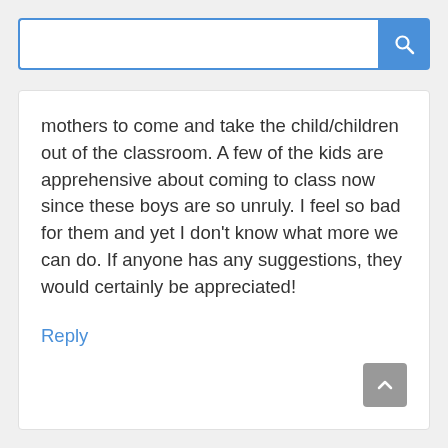[Figure (screenshot): Search bar with blue border and blue search button with magnifying glass icon]
mothers to come and take the child/children out of the classroom. A few of the kids are apprehensive about coming to class now since these boys are so unruly. I feel so bad for them and yet I don't know what more we can do. If anyone has any suggestions, they would certainly be appreciated!
Reply